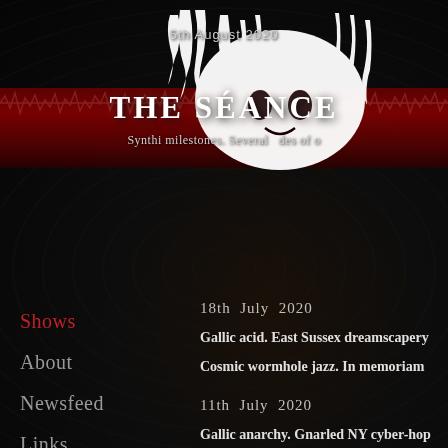5th August 2020
THE SÉANCE
Synthi milestones. Several des of o
Shows
About
Newsfeed
Links
Contact
18th July 2020
Gallic acid. East Sussex dreamscapery
Cosmic wormhole jazz. In memoriam
11th July 2020
Gallic anarchy. Gnarled NY cyber-hop
tangential noise larks.
27th June 2020
Motorik synthpunk delirium, post-me